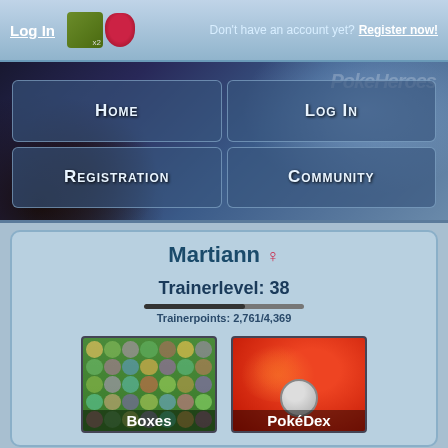Log In | Don't have an account yet? Register now!
[Figure (screenshot): Navigation banner with Pokemon (Xerneas/Yveltal) background art and PokeHeroes logo. Grid of four nav buttons: Home, Log In, Registration, Community.]
Martiann ♀
Trainerlevel: 38
Trainerpoints: 2,761/4,369
[Figure (screenshot): Boxes thumbnail showing a Pokemon box grid with many small Pokemon sprites on green background, labeled 'Boxes']
[Figure (screenshot): PokeDex thumbnail showing Charmander on red background with Poke Ball, labeled 'PokéDex']